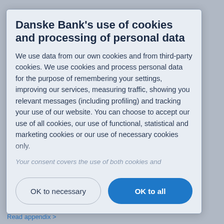Danske Bank's use of cookies and processing of personal data
We use data from our own cookies and from third-party cookies. We use cookies and process personal data for the purpose of remembering your settings, improving our services, measuring traffic, showing you relevant messages (including profiling) and tracking your use of our website. You can choose to accept our use of all cookies, our use of functional, statistical and marketing cookies or our use of necessary cookies only.
Your consent covers the use of both cookies and
OK to necessary
OK to all
Read appendix >